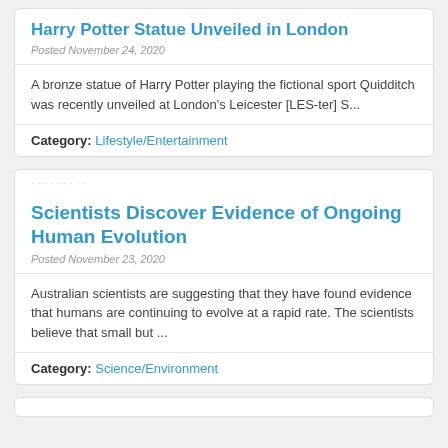Harry Potter Statue Unveiled in London
Posted November 24, 2020
A bronze statue of Harry Potter playing the fictional sport Quidditch was recently unveiled at London's Leicester [LES-ter] S...
Category: Lifestyle/Entertainment
Scientists Discover Evidence of Ongoing Human Evolution
Posted November 23, 2020
Australian scientists are suggesting that they have found evidence that humans are continuing to evolve at a rapid rate. The scientists believe that small but ...
Category: Science/Environment